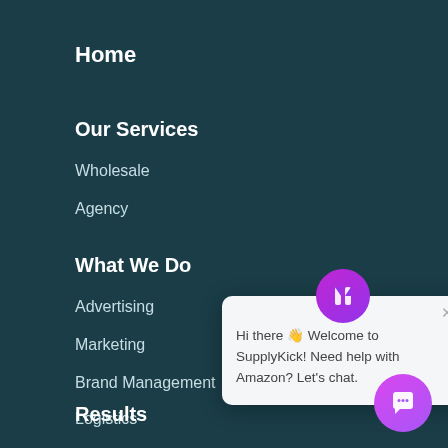Home
Our Services
Wholesale
Agency
What We Do
Advertising
Marketing
Brand Management
Logistics
[Figure (screenshot): Chat popup widget from SupplyKick with purple icon and message: Hi there Welcome to SupplyKick! Need help with Amazon? Let's chat.]
Results